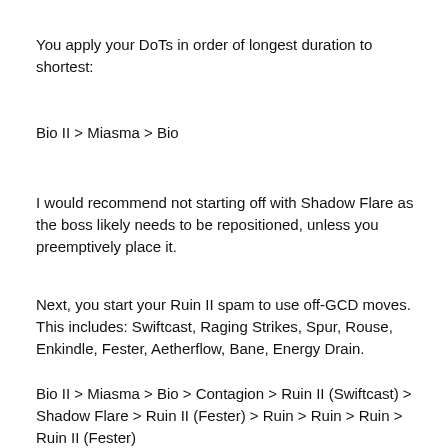You apply your DoTs in order of longest duration to shortest:
Bio II > Miasma > Bio
I would recommend not starting off with Shadow Flare as the boss likely needs to be repositioned, unless you preemptively place it.
Next, you start your Ruin II spam to use off-GCD moves. This includes: Swiftcast, Raging Strikes, Spur, Rouse, Enkindle, Fester, Aetherflow, Bane, Energy Drain.
Bio II > Miasma > Bio > Contagion > Ruin II (Swiftcast) > Shadow Flare > Ruin II (Fester) > Ruin > Ruin > Ruin > Ruin II (Fester)